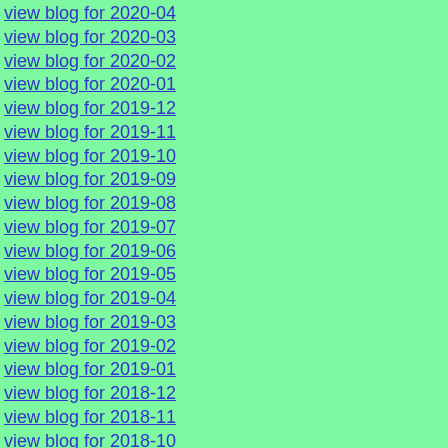view blog for 2020-04
view blog for 2020-03
view blog for 2020-02
view blog for 2020-01
view blog for 2019-12
view blog for 2019-11
view blog for 2019-10
view blog for 2019-09
view blog for 2019-08
view blog for 2019-07
view blog for 2019-06
view blog for 2019-05
view blog for 2019-04
view blog for 2019-03
view blog for 2019-02
view blog for 2019-01
view blog for 2018-12
view blog for 2018-11
view blog for 2018-10
view blog for 2018-09
view blog for 2018-08
view blog for 2018-07
view blog for 2018-06
view blog for 2018-05
view blog for 2018-04